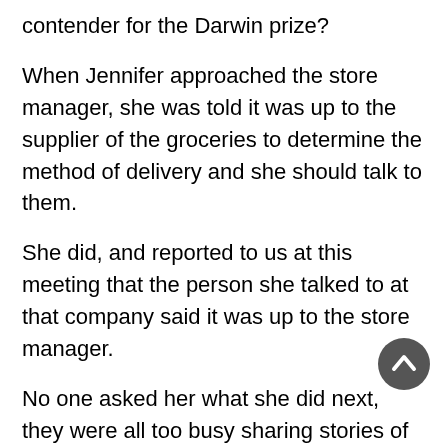contender for the Darwin prize?
When Jennifer approached the store manager, she was told it was up to the supplier of the groceries to determine the method of delivery and she should talk to them.
She did, and reported to us at this meeting that the person she talked to at that company said it was up to the store manager.
No one asked her what she did next, they were all too busy sharing stories of food that was not fresh, food that was dumped rather than marked down, prices they had known, etc. etc....
I added my e-mail address to a list and waited to hear what was going to come of this. That was weeks and weeks ago